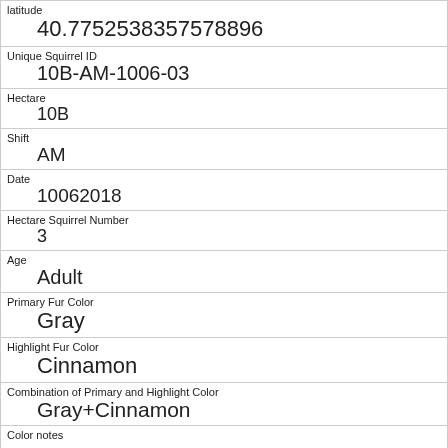| Field | Value |
| --- | --- |
| latitude | 40.7752538357578896 |
| Unique Squirrel ID | 10B-AM-1006-03 |
| Hectare | 10B |
| Shift | AM |
| Date | 10062018 |
| Hectare Squirrel Number | 3 |
| Age | Adult |
| Primary Fur Color | Gray |
| Highlight Fur Color | Cinnamon |
| Combination of Primary and Highlight Color | Gray+Cinnamon |
| Color notes |  |